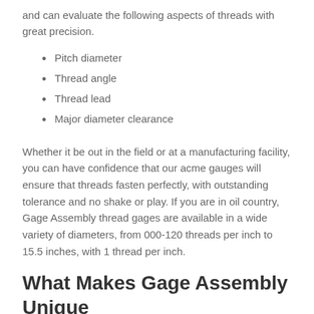and can evaluate the following aspects of threads with great precision.
Pitch diameter
Thread angle
Thread lead
Major diameter clearance
Whether it be out in the field or at a manufacturing facility, you can have confidence that our acme gauges will ensure that threads fasten perfectly, with outstanding tolerance and no shake or play. If you are in oil country, Gage Assembly thread gages are available in a wide variety of diameters, from 000-120 threads per inch to 15.5 inches, with 1 thread per inch.
What Makes Gage Assembly Unique